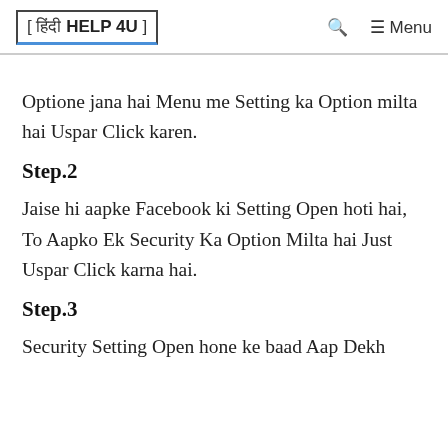[ हिंदी HELP 4U ]  🔍  ☰ Menu
Optione jana hai Menu me Setting ka Option milta hai Uspar Click karen.
Step.2
Jaise hi aapke Facebook ki Setting Open hoti hai, To Aapko Ek Security Ka Option Milta hai Just Uspar Click karna hai.
Step.3
Security Setting Open hone ke baad Aap Dekh